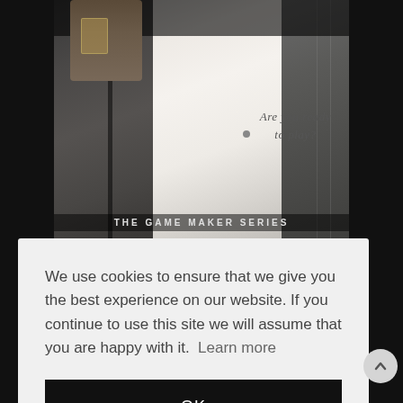[Figure (photo): Black and white photo of men in suits, one holding a glass. Text overlay reads 'Are you ready to play?' in handwriting script. Banner at bottom reads 'THE GAME MAKER SERIES' in spaced caps.]
We use cookies to ensure that we give you the best experience on our website. If you continue to use this site we will assume that you are happy with it.  Learn more
OK